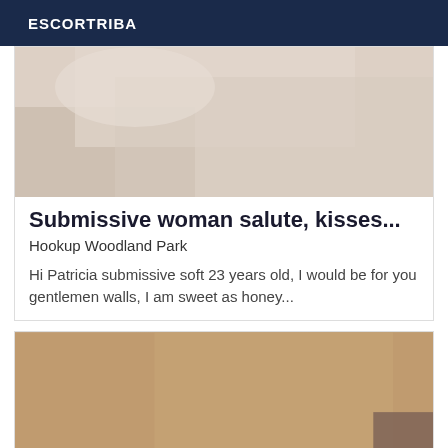ESCORTRIBA
[Figure (photo): Partial photo of a person lying on a bed, cropped, light fabric background]
Submissive woman salute, kisses...
Hookup Woodland Park
Hi Patricia submissive soft 23 years old, I would be for you gentlemen walls, I am sweet as honey...
[Figure (photo): Photo of a person's torso with a yellow star graphic overlaid]